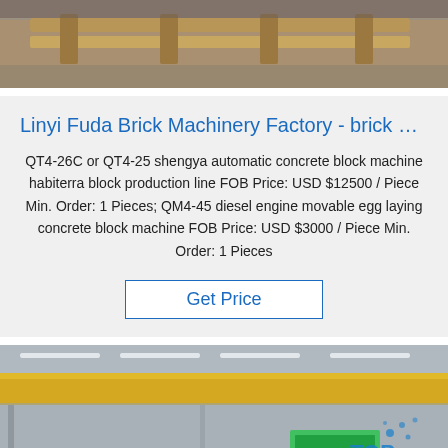[Figure (photo): Top portion of an industrial/warehouse scene showing wooden pallets or timber supports on a concrete floor]
Linyi Fuda Brick Machinery Factory - brick …
QT4-26C or QT4-25 shengya automatic concrete block machine habiterra block production line FOB Price: USD $12500 / Piece Min. Order: 1 Pieces; QM4-45 diesel engine movable egg laying concrete block machine FOB Price: USD $3000 / Piece Min. Order: 1 Pieces
Get Price
[Figure (photo): Interior of a large industrial factory/warehouse with overhead cranes (yellow bridge crane), fluorescent lighting, and large metal coils or rolls on the factory floor. A 'TOP' watermark is visible.]